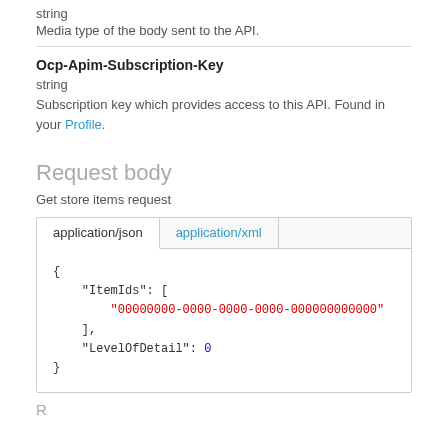string
Media type of the body sent to the API.
Ocp-Apim-Subscription-Key
string
Subscription key which provides access to this API. Found in your Profile.
Request body
Get store items request
[Figure (screenshot): Tab panel showing application/json and application/xml tabs, with JSON code block containing ItemIds array and LevelOfDetail field]